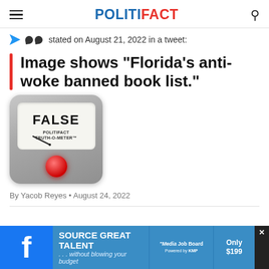POLITIFACT
stated on August 21, 2022 in a tweet:
Image shows "Florida's anti-woke banned book list."
[Figure (infographic): PolitiFact Truth-O-Meter showing FALSE rating with red button indicator]
By Yacob Reyes • August 24, 2022
[Figure (infographic): Advertisement banner: Source Great Talent ... without blowing your budget. Media Job Board. Only $199.]